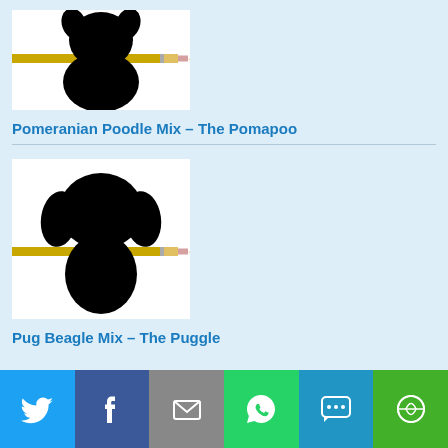[Figure (illustration): Silhouette of a Pomeranian Poodle mix dog holding a pencil in its mouth, on white background]
Pomeranian Poodle Mix – The Pomapoo
[Figure (illustration): Silhouette of a Pug Beagle mix dog holding a pencil in its mouth, on white background]
Pug Beagle Mix – The Puggle
[Figure (infographic): Social media share bar with Twitter, Facebook, Email, WhatsApp, SMS, and More buttons]